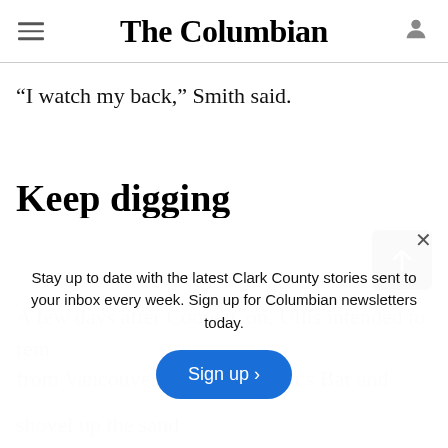The Columbian
attract some extreme people.
“I watch my back,” Smith said.
Keep digging
A few days after CooperCon, Ullis intended to rem
from Vancouver and Frenchman’s Bar and
shovel up the sand
Stay up to date with the latest Clark County stories sent to your inbox every week. Sign up for Columbian newsletters today.
Sign up ›